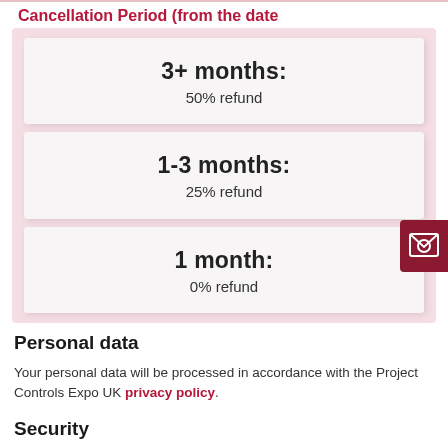Cancellation Period (from the date
3+ months: 50% refund
1-3 months: 25% refund
1 month: 0% refund
Personal data
Your personal data will be processed in accordance with the Project Controls Expo UK privacy policy.
Security